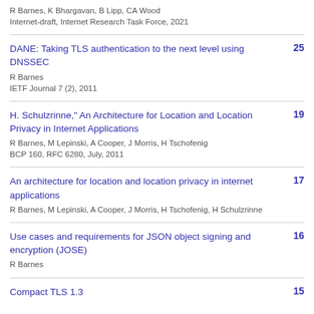R Barnes, K Bhargavan, B Lipp, CA Wood
Internet-draft, Internet Research Task Force, 2021
DANE: Taking TLS authentication to the next level using DNSSEC
25
R Barnes
IETF Journal 7 (2), 2011
H. Schulzrinne," An Architecture for Location and Location Privacy in Internet Applications
19
R Barnes, M Lepinski, A Cooper, J Morris, H Tschofenig
BCP 160, RFC 6280, July, 2011
An architecture for location and location privacy in internet applications
17
R Barnes, M Lepinski, A Cooper, J Morris, H Tschofenig, H Schulzrinne
Use cases and requirements for JSON object signing and encryption (JOSE)
16
R Barnes
Compact TLS 1.3
15